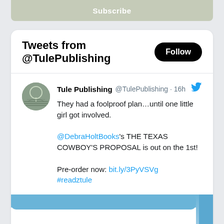[Figure (screenshot): Partially visible Subscribe button bar at the top of the page]
Tweets from @TulePublishing
Follow
Tule Publishing @TulePublishing · 16h
They had a foolproof plan…until one little girl got involved.

@DebraHoltBooks's THE TEXAS COWBOY'S PROPOSAL is out on the 1st!

Pre-order now: bit.ly/3PyVSVg
#readztule
[Figure (screenshot): Partially visible image attached to the tweet showing a sky and grass scene]